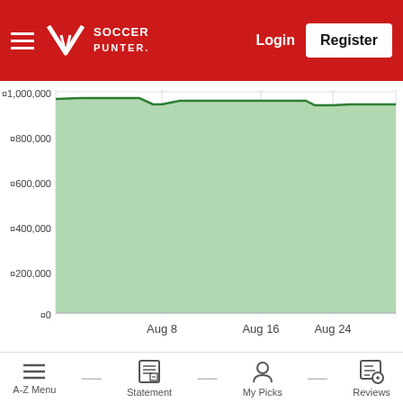Soccer Punter — Login | Register
[Figure (area-chart): Bankroll over time (August)]
Mastakilla's Rankings in Tipsters Competition
A-Z Menu | Statement | My Picks | Reviews